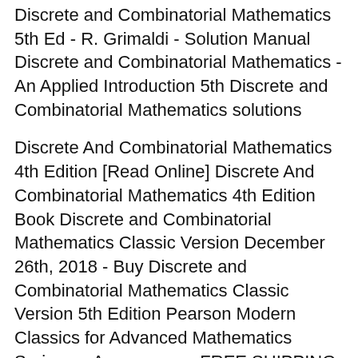Discrete and Combinatorial Mathematics 5th Ed - R. Grimaldi - Solution Manual Discrete and Combinatorial Mathematics - An Applied Introduction 5th Discrete and Combinatorial Mathematics solutions
Discrete And Combinatorial Mathematics 4th Edition [Read Online] Discrete And Combinatorial Mathematics 4th Edition Book Discrete and Combinatorial Mathematics Classic Version December 26th, 2018 - Buy Discrete and Combinatorial Mathematics Classic Version 5th Edition Pearson Modern Classics for Advanced Mathematics Series on Amazon com FREE SHIPPING on Amazon com